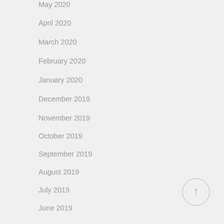May 2020
April 2020
March 2020
February 2020
January 2020
December 2019
November 2019
October 2019
September 2019
August 2019
July 2019
June 2019
[Figure (illustration): Back to top button: circular grey-bordered button with upward arrow icon]